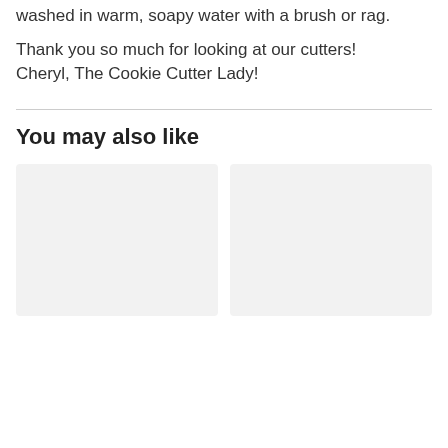washed in warm, soapy water with a brush or rag.
Thank you so much for looking at our cutters!
Cheryl, The Cookie Cutter Lady!
You may also like
[Figure (other): Two product image placeholder cards side by side]